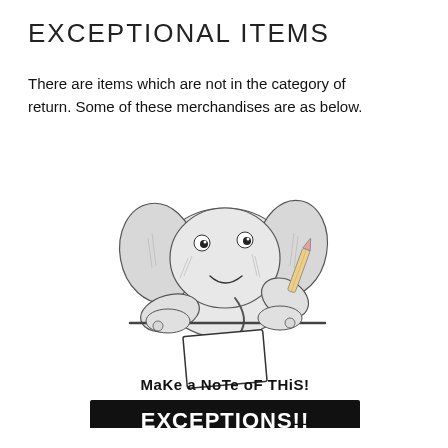EXCEPTIONAL ITEMS
There are items which are not in the category of return. Some of these merchandises are as below.
[Figure (illustration): Cartoon illustration of a friendly elephant writing with a pencil at a desk, with text 'Make a Note of THIS!' below it, and a black banner reading 'EXCEPTIONS!!']